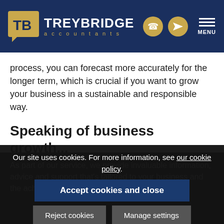TREYBRIDGE accountants
process, you can forecast more accurately for the longer term, which is crucial if you want to grow your business in a sustainable and responsible way.
Speaking of business growth...
As part of our service, we provide invaluable information, advice and support that's tailored to your business and the achieving of specific goals.
Our site uses cookies. For more information, see our cookie policy.
Accept cookies and close
Reject cookies
Manage settings
Through our knowledge of business accounts, we'll let you know how to grow, to help your company run more efficiently and increase profit levels of